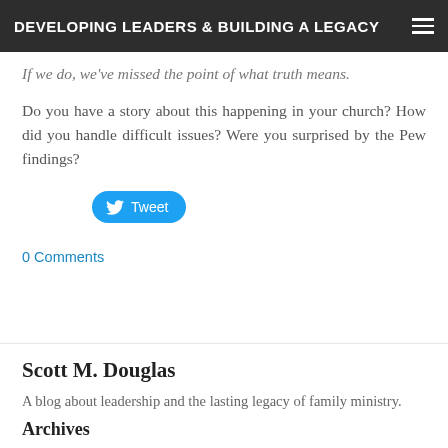DEVELOPING LEADERS & BUILDING A LEGACY
If we do, we've missed the point of what truth means.
Do you have a story about this happening in your church? How did you handle difficult issues? Were you surprised by the Pew findings?
[Figure (other): Tweet button with Twitter bird icon]
0 Comments
Scott M. Douglas
A blog about leadership and the lasting legacy of family ministry.
Archives